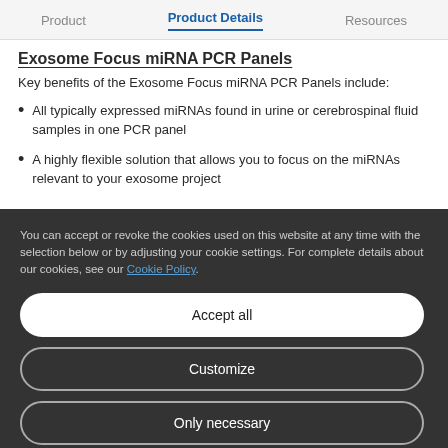Product   Product Details   Resources
Exosome Focus miRNA PCR Panels
Key benefits of the Exosome Focus miRNA PCR Panels include:
All typically expressed miRNAs found in urine or cerebrospinal fluid samples in one PCR panel
A highly flexible solution that allows you to focus on the miRNAs relevant to your exosome project
You can accept or revoke the cookies used on this website at any time with the selection below or by adjusting your cookie settings. For complete details about our cookies, see our Cookie Policy.
Accept all
Customize
Only necessary